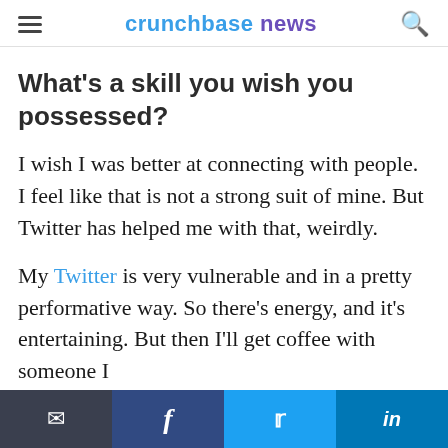crunchbase news
What's a skill you wish you possessed?
I wish I was better at connecting with people. I feel like that is not a strong suit of mine. But Twitter has helped me with that, weirdly.
My Twitter is very vulnerable and in a pretty performative way. So there's energy, and it's entertaining. But then I'll get coffee with someone I
Email | Facebook | Twitter | LinkedIn